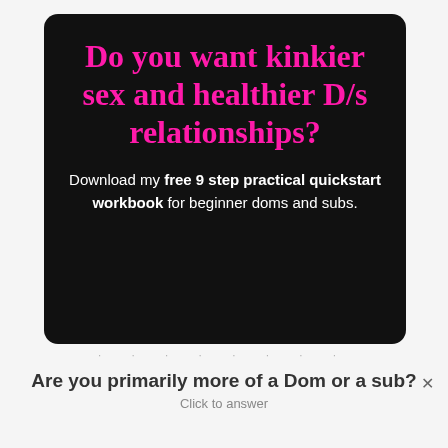Do you want kinkier sex and healthier D/s relationships?
Download my free 9 step practical quickstart workbook for beginner doms and subs.
Are you primarily more of a Dom or a sub? Click to answer